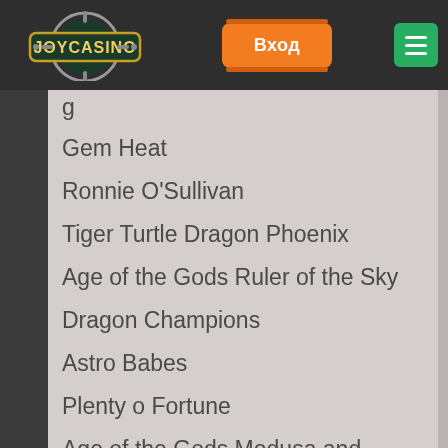[Figure (logo): JoyCasino logo with gear/cog wheel design on dark background]
Вход
g (partial, clipped)
Gem Heat
Ronnie O'Sullivan
Tiger Turtle Dragon Phoenix
Age of the Gods Ruler of the Sky
Dragon Champions
Astro Babes
Plenty o Fortune
Age of the Gods Medusa and Monsters